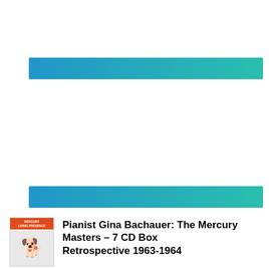[Figure (other): Horizontal blue-to-teal gradient bar, first of two decorative bars]
[Figure (other): Horizontal blue-to-teal gradient bar, second of two decorative bars]
[Figure (other): Album cover thumbnail with orange Mercury Living Presence label header and dog graphic]
Pianist Gina Bachauer: The Mercury Masters – 7 CD Box Retrospective 1963-1964